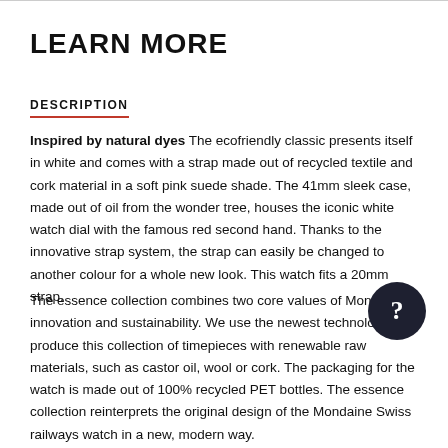LEARN MORE
DESCRIPTION
Inspired by natural dyes The ecofriendly classic presents itself in white and comes with a strap made out of recycled textile and cork material in a soft pink suede shade. The 41mm sleek case, made out of oil from the wonder tree, houses the iconic white watch dial with the famous red second hand. Thanks to the innovative strap system, the strap can easily be changed to another colour for a whole new look. This watch fits a 20mm strap.
The essence collection combines two core values of Mondaine: innovation and sustainability. We use the newest technologies to produce this collection of timepieces with renewable raw materials, such as castor oil, wool or cork. The packaging for the watch is made out of 100% recycled PET bottles. The essence collection reinterprets the original design of the Mondaine Swiss railways watch in a new, modern way.